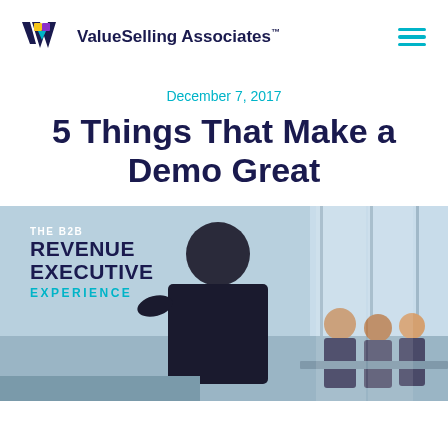ValueSelling Associates™
December 7, 2017
5 Things That Make a Demo Great
[Figure (photo): A business woman presenting to a group of professionals in a bright office boardroom, overlaid with text reading 'THE B2B REVENUE EXECUTIVE EXPERIENCE']